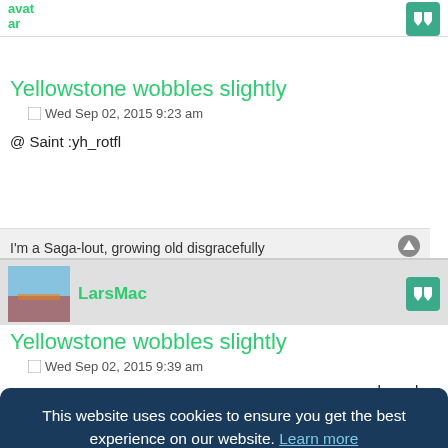avatar
Yellowstone wobbles slightly
Wed Sep 02, 2015 9:23 am
@ Saint :yh_rotfl
I'm a Saga-lout, growing old disgracefully
LarsMac
Yellowstone wobbles slightly
Wed Sep 02, 2015 9:39 am
This website uses cookies to ensure you get the best experience on our website. Learn more
Got it!
not in the immediate future, though.